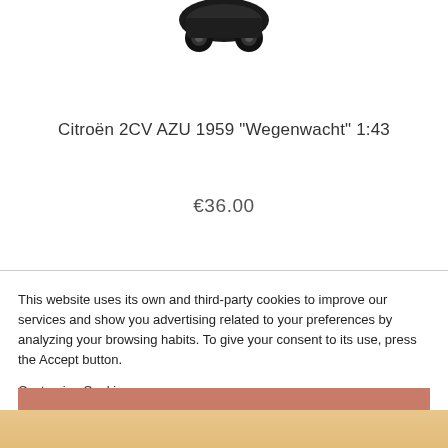[Figure (photo): Partial top view of a Citroën 2CV AZU 1959 Wegenwacht 1:43 scale model, showing the top portion of the vehicle model against a white background]
Citroën 2CV AZU 1959 'Wegenwacht' 1:43
€36.00
This website uses its own and third-party cookies to improve our services and show you advertising related to your preferences by analyzing your browsing habits. To give your consent to its use, press the Accept button.
Customize Cookies
[Figure (photo): Bottom portion of a product page showing a warm beige/golden background with partial view of what appears to be another model car]